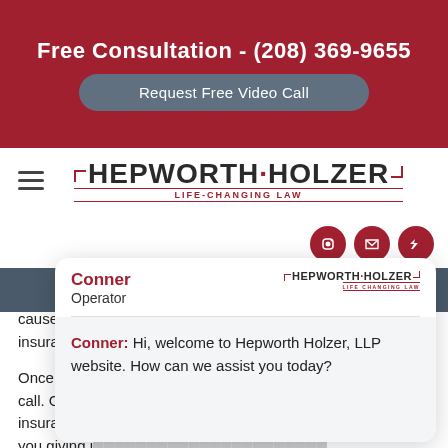Free Consultation - (208) 369-9655
Request Free Video Call
[Figure (logo): Hepworth Holzer Life-Changing Law logo with hamburger menu and social media icons]
cause your own insurance c... own insurance c...
Once again, ... lawyer a call. Give u... insurance c... you prior to you giving i...
[Figure (screenshot): Chat popup from Accelerate Now showing agent Conner (Operator) with Hepworth Holzer logo and message: Hi, welcome to Hepworth Holzer, LLP website. How can we assist you today? Type here... Powered By: Accelerate Now]